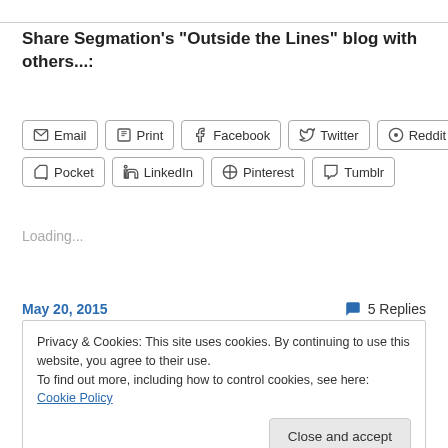Share Segmation's "Outside the Lines" blog with others...:
[Figure (infographic): Row of social share buttons: Email, Print, Facebook, Twitter, Reddit, Pocket, LinkedIn, Pinterest, Tumblr]
Loading...
May 20, 2015
5 Replies
Privacy & Cookies: This site uses cookies. By continuing to use this website, you agree to their use.
To find out more, including how to control cookies, see here: Cookie Policy
Close and accept